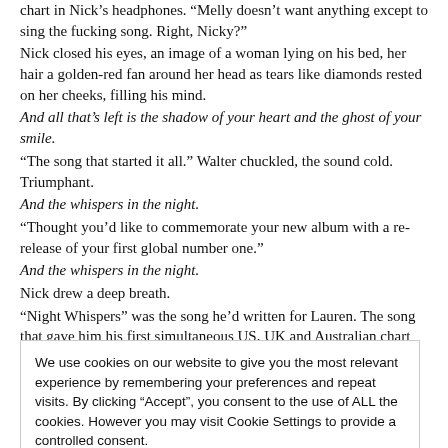chart in Nick's headphones. "Melly doesn't want anything except to sing the fucking song. Right, Nicky?"
Nick closed his eyes, an image of a woman lying on his bed, her hair a golden-red fan around her head as tears like diamonds rested on her cheeks, filling his mind.
And all that's left is the shadow of your heart and the ghost of your smile.
"The song that started it all." Walter chuckled, the sound cold. Triumphant.
And the whispers in the night.
"Thought you'd like to commemorate your new album with a re-release of your first global number one."
And the whispers in the night.
Nick drew a deep breath.
"Night Whispers" was the song he'd written for Lauren. The song that gave him his first simultaneous US, UK and Australian chart topper. The song that said what he'd been too stupid to say when he needed to say it: I choose you. My first international number one.
Plus the lyrics from the website information came back to him. His one.
He couldn't ignore the significance of that number. His first number one, recorded and written about a woman who had been his bomb—everything—friend, love, sexual partner—and now, here he was, being invited to bring a plus one to Mack and Aidan's wedding, and the only woman he could...
We use cookies on our website to give you the most relevant experience by remembering your preferences and repeat visits. By clicking "Accept", you consent to the use of ALL the cookies. However you may visit Cookie Settings to provide a controlled consent.